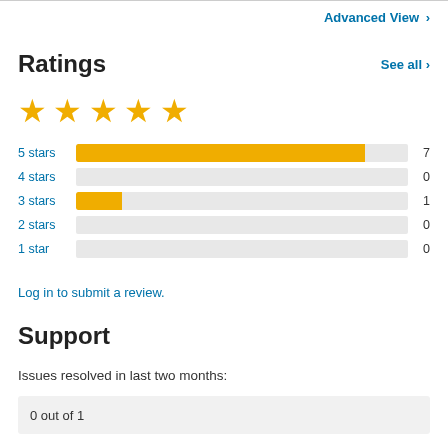Advanced View >
Ratings
See all >
[Figure (other): 5 gold stars rating display]
[Figure (bar-chart): Ratings breakdown]
Log in to submit a review.
Support
Issues resolved in last two months:
0 out of 1